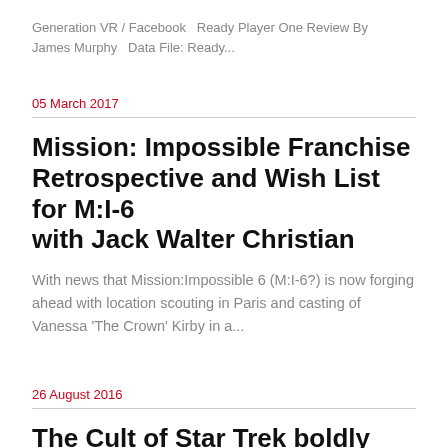Generation VR / Facebook   Ready Player One Review By James Murphy   Data File: Ready...
05 March 2017
Mission: Impossible Franchise Retrospective and Wish List for M:I-6 with Jack Walter Christian
With news that Mission:Impossible 6 (M:I-6?) is now forging ahead with location scouting in Paris and casting of Vanessa 'The Crown' Kirby in a...
26 August 2016
The Cult of Star Trek boldly goes from